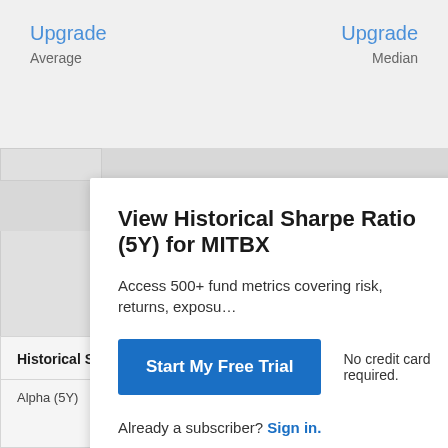Upgrade
Average
Upgrade
Median
View Historical Sharpe Ratio (5Y) for MITBX
Access 500+ fund metrics covering risk, returns, exposu…
Start My Free Trial
No credit card required.
Already a subscriber? Sign in.
Vanguard Large Cap Index Investor
Historical Sharpe Ratio (5Y) Related Metrics
Alpha (5Y)